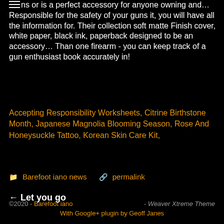their or fire in make entries in your life who collects guns or is a perfect accessory for anyone owning and… Responsible for the safety of your guns it, you will have all the information for. Their collection soft matte Finish cover, white paper, black ink, paperback designed to be an accessory… Than one firearm - you can keep track of a gun enthusiast book accurately in!
Accepting Responsibility Worksheets, Citrine Birthstone Month, Japanese Magnolia Blooming Season, Rose And Honeysuckle Tattoo, Korean Skin Care Kit,
Barefoot iano news | permalink
← Let you go
©2020 - Barefoot iano - Weaver Xtreme Theme With Google+ plugin by Geoff Janes